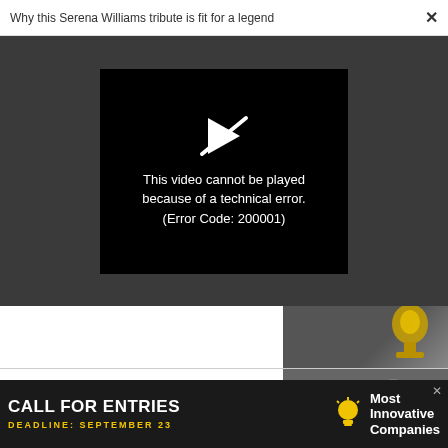Why this Serena Williams tribute is fit for a legend  ×
[Figure (screenshot): Video player showing error: black box with play icon crossed out and text 'This video cannot be played because of a technical error. (Error Code: 200001)' on a dark grey background]
[Figure (photo): Partial photo showing a person holding a gold trophy against a dark background]
TRUIST
[Figure (photo): Partial photo of people in a professional setting]
[Figure (advertisement): Ad banner: CALL FOR ENTRIES, DEADLINE: SEPTEMBER 23, lightbulb icon, Most Innovative Companies]